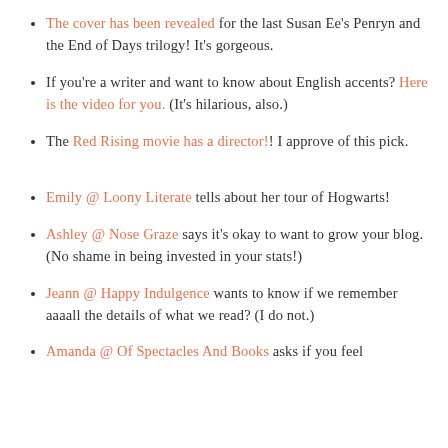creation. #faithinhumanityrestored
The cover has been revealed for the last Susan Ee's Penryn and the End of Days trilogy! It's gorgeous.
If you're a writer and want to know about English accents? Here is the video for you. (It's hilarious, also.)
The Red Rising movie has a director!! I approve of this pick.
Emily @ Loony Literate tells about her tour of Hogwarts!
Ashley @ Nose Graze says it's okay to want to grow your blog. (No shame in being invested in your stats!)
Jeann @ Happy Indulgence wants to know if we remember aaaall the details of what we read? (I do not.)
Amanda @ Of Spectacles And Books asks if you feel